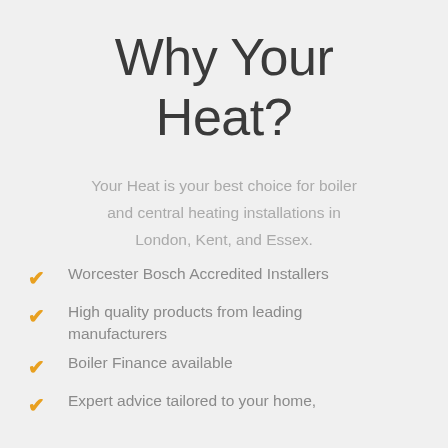Why Your Heat?
Your Heat is your best choice for boiler and central heating installations in London, Kent, and Essex.
Worcester Bosch Accredited Installers
High quality products from leading manufacturers
Boiler Finance available
Expert advice tailored to your home,